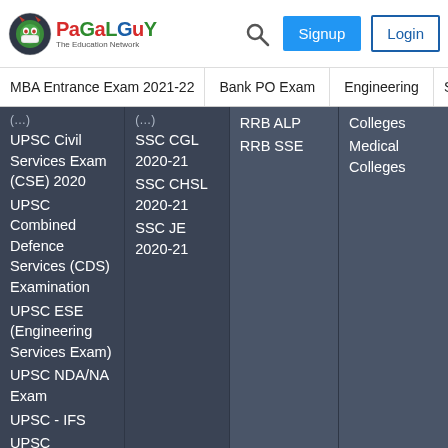PaGaLGuY - The Education Network | MBA Entrance Exam 2021-22 | Bank PO Exam | Engineering | SSC
(partial header text cut off)
UPSC Civil Services Exam (CSE) 2020
UPSC Combined Defence Services (CDS) Examination
UPSC ESE (Engineering Services Exam)
UPSC NDA/NA Exam
UPSC - IFS
UPSC
SSC CGL 2020-21
SSC CHSL 2020-21
SSC JE 2020-21
RRB ALP
RRB SSE
Colleges
Medical Colleges